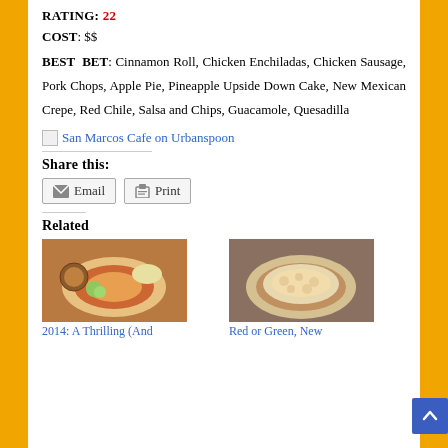RATING: 22
COST: $$
BEST BET: Cinnamon Roll, Chicken Enchiladas, Chicken Sausage, Pork Chops, Apple Pie, Pineapple Upside Down Cake, New Mexican Crepe, Red Chile, Salsa and Chips, Guacamole, Quesadilla
[Figure (other): San Marcos Cafe on Urbanspoon link with small image icon]
Share this:
Email | Print buttons
Related
[Figure (photo): Food photo showing a plate with red sauce and garnish]
[Figure (photo): Food photo showing a bowl with cheese-topped dish]
2014: A Thrilling (And...
Red or Green, New...